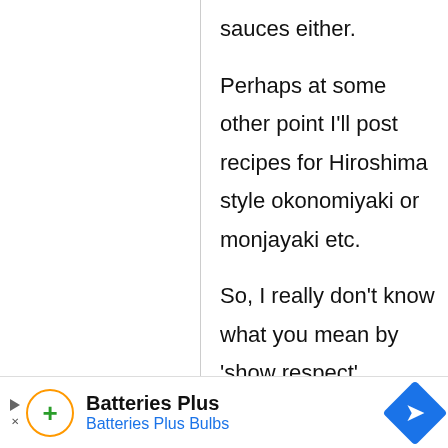sauces either.

Perhaps at some other point I'll post recipes for Hiroshima style okonomiyaki or monjayaki etc.

So, I really don't know what you mean by 'show respect'.
[Figure (other): Advertisement banner for Batteries Plus / Batteries Plus Bulbs with orange circle logo containing a green plus sign, play/stop icons on left, and a blue diamond navigation arrow icon on right.]